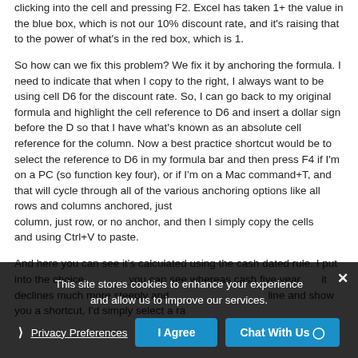clicking into the cell and pressing F2. Excel has taken 1+ the value in the blue box, which is not our 10% discount rate, and it's raising that to the power of what's in the red box, which is 1.
So how can we fix this problem? We fix it by anchoring the formula. I need to indicate that when I copy to the right, I always want to be using cell D6 for the discount rate. So, I can go back to my original formula and highlight the cell reference to D6 and insert a dollar sign before the D so that I have what's known as an absolute cell reference for the column. Now a best practice shortcut would be to select the reference to D6 in my formula bar and then press F4 if I'm on a PC (so function key four), or if I'm on a Mac command+T, and that will cycle through all of the various anchoring options like all rows and columns anchored, just column, just row, or no anchor, and then I simply copy the cells and using Ctrl+V to paste.
And here you can see it's calculated using the cash dated rule. I put into the choice, you can see whereas cash five year cash flows, it declines much more steeply and I want to show you a shortcut, I'd simply select a range line and show you a shortcut, I'd simply select a range
This site stores cookies to enhance your experience and allow us to improve our services.
Privacy Preferences
I Agree
Chat With Us